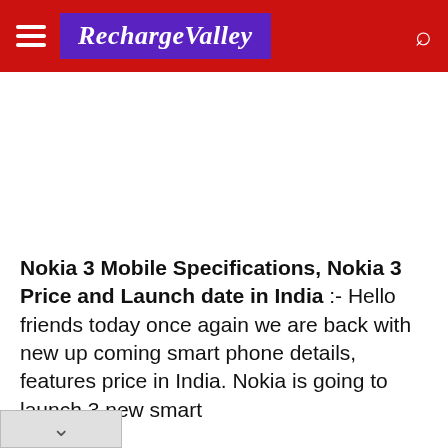RechargeValley
Nokia 3 Mobile Specifications, Nokia 3 Price and Launch date in India :- Hello friends today once again we are back with new up coming smart phone details, features price in India. Nokia is going to launch 3 new smart